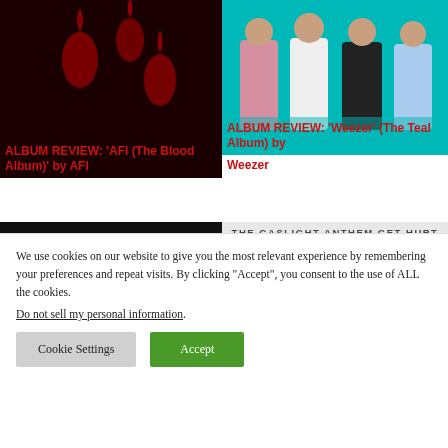[Figure (photo): Dark red background with blood drop shapes, album art for AFI The Blood Album]
ALBUM REVIEW: 'AFI (The Blood Album)' by AFI
[Figure (photo): Four band members of Weezer posing on teal background]
ALBUM REVIEW: 'Weezer' (The Teal Album) by Weezer
[Figure (photo): Black and white photo of Weezer band members in dark outfits]
[Figure (photo): The Gaslight Anthem Get Hurt album cover with red triangle on light background]
We use cookies on our website to give you the most relevant experience by remembering your preferences and repeat visits. By clicking “Accept”, you consent to the use of ALL the cookies.
Do not sell my personal information.